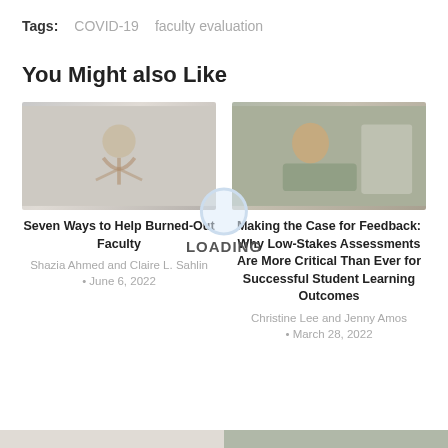Tags:  COVID-19  faculty evaluation
You Might also Like
[Figure (photo): Wooden mannequin bent over in stress position on a desk, representing burnout]
Seven Ways to Help Burned-Out Faculty
Shazia Ahmed and Claire L. Sahlin
• June 6, 2022
[Figure (photo): Woman with curly hair smiling while working on a laptop at a desk near a window]
Making the Case for Feedback: Why Low-Stakes Assessments Are More Critical Than Ever for Successful Student Learning Outcomes
Christine Lee and Jenny Amos
• March 28, 2022